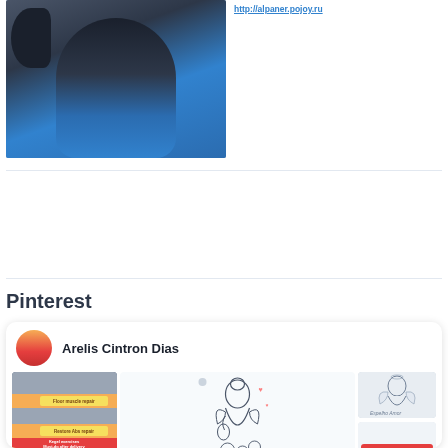[Figure (photo): Person wearing a blue t-shirt, selfie-style photo]
http://alpaner.pojoy.ru
Pinterest
[Figure (screenshot): Pinterest profile card for Arelis Cintron Dias showing pins: exercise/pregnancy infographic, angel drawing with flowers, angel sketch, and Mobility Session for Pregnancy image]